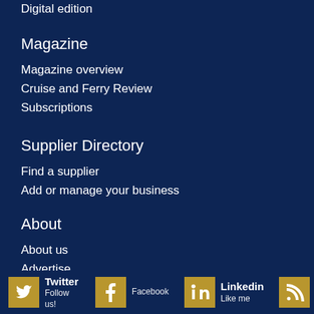Digital edition
Magazine
Magazine overview
Cruise and Ferry Review
Subscriptions
Supplier Directory
Find a supplier
Add or manage your business
About
About us
Advertise
Contact us
Newsletter
[Figure (infographic): Social media icons row: Twitter (Follow us!), Facebook, Linkedin (Like me), RSS (Our feeds) — gold square icons on dark navy background]